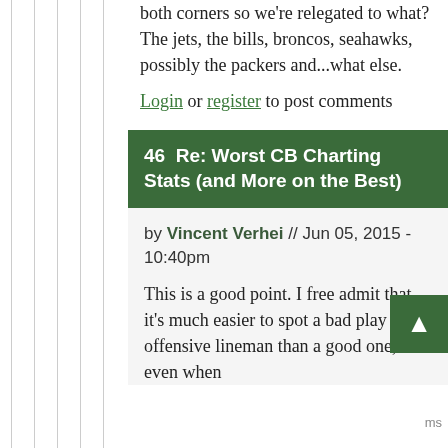both corners so we're relegated to what? The jets, the bills, broncos, seahawks, possibly the packers and...what else.
Login or register to post comments
46  Re: Worst CB Charting Stats (and More on the Best)
by Vincent Verhei // Jun 05, 2015 - 10:40pm
This is a good point. I free admit that it's much easier to spot a bad play by an offensive lineman than a good one, even when...